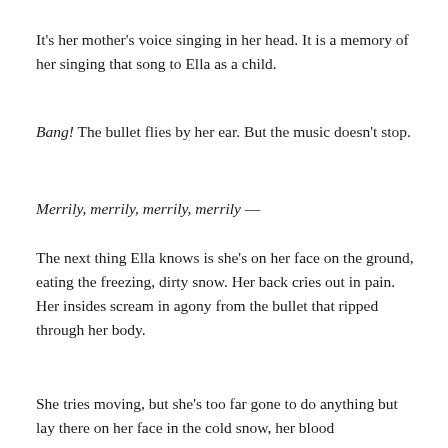It's her mother's voice singing in her head. It is a memory of her singing that song to Ella as a child.
Bang! The bullet flies by her ear. But the music doesn't stop.
Merrily, merrily, merrily, merrily —
The next thing Ella knows is she's on her face on the ground, eating the freezing, dirty snow. Her back cries out in pain. Her insides scream in agony from the bullet that ripped through her body.
She tries moving, but she's too far gone to do anything but lay there on her face in the cold snow, her blood